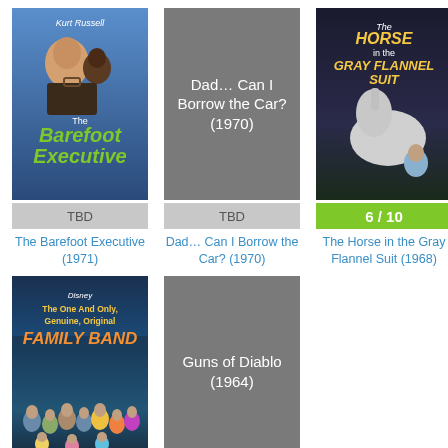[Figure (photo): Movie poster for The Barefoot Executive (1971) - Disney film with Kurt Russell holding a briefcase with a chimpanzee]
TBD
The Barefoot Executive (1971)
[Figure (other): Placeholder gray tile for Dad... Can I Borrow the Car? (1970)]
TBD
Dad… Can I Borrow the Car? (1970)
[Figure (photo): Movie poster for The Horse in the Gray Flannel Suit (1968) - Disney film showing horse and young man]
6 / 10
The Horse in the Gray Flannel Suit (1968)
[Figure (photo): Movie poster for The One and Only Genuine Original Family Band - Disney film showing large family group on stage]
[Figure (other): Placeholder gray tile for Guns of Diablo (1964)]